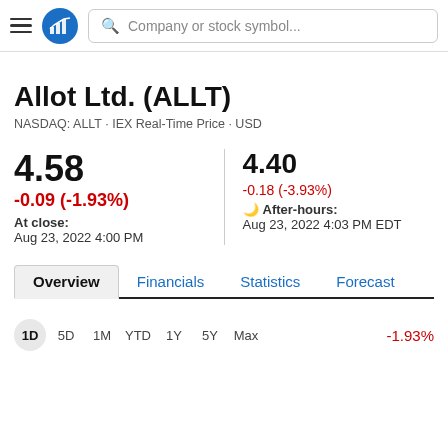Company or stock symbol...
Allot Ltd. (ALLT)
NASDAQ: ALLT · IEX Real-Time Price · USD
4.58
-0.09 (-1.93%)
At close:
Aug 23, 2022 4:00 PM
4.40
-0.18 (-3.93%)
After-hours:
Aug 23, 2022 4:03 PM EDT
Overview  Financials  Statistics  Forecast
1D  5D  1M  YTD  1Y  5Y  Max  -1.93%